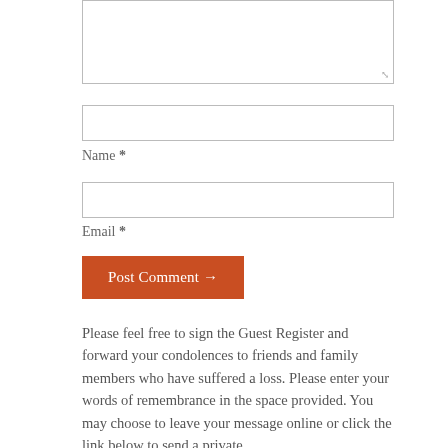[Figure (other): Large textarea input box with resize handle in bottom right corner]
[Figure (other): Text input box for Name field]
Name *
[Figure (other): Text input box for Email field]
Email *
Post Comment →
Please feel free to sign the Guest Register and forward your condolences to friends and family members who have suffered a loss. Please enter your words of remembrance in the space provided. You may choose to leave your message online or click the link below to send a private